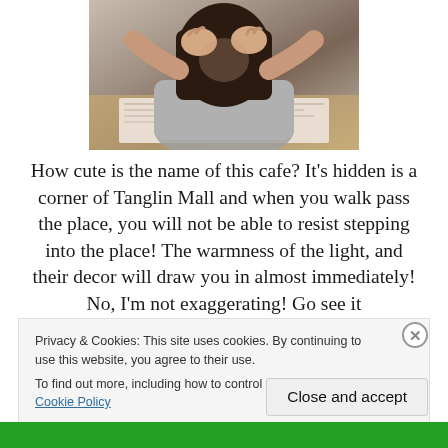[Figure (photo): A person with dark hair leaning over a table with papers, hands raised near their face, wearing a grey top.]
How cute is the name of this cafe? It’s hidden is a corner of Tanglin Mall and when you walk pass the place, you will not be able to resist stepping into the place! The warmness of the light, and their decor will draw you in almost immediately! No, I’m not exaggerating! Go see it
Privacy & Cookies: This site uses cookies. By continuing to use this website, you agree to their use.
To find out more, including how to control cookies, see here: Cookie Policy
Close and accept